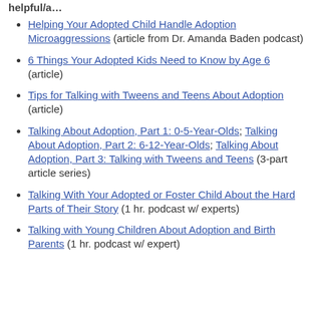helpful/a…
Helping Your Adopted Child Handle Adoption Microaggressions (article from Dr. Amanda Baden podcast)
6 Things Your Adopted Kids Need to Know by Age 6 (article)
Tips for Talking with Tweens and Teens About Adoption (article)
Talking About Adoption, Part 1: 0-5-Year-Olds; Talking About Adoption, Part 2: 6-12-Year-Olds; Talking About Adoption, Part 3: Talking with Tweens and Teens (3-part article series)
Talking With Your Adopted or Foster Child About the Hard Parts of Their Story (1 hr. podcast w/ experts)
Talking with Young Children About Adoption and Birth Parents (1 hr. podcast w/ expert)